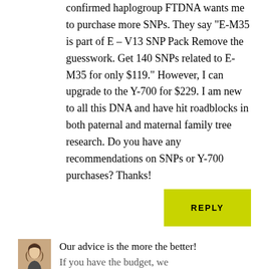confirmed haplogroup FTDNA wants me to purchase more SNPs. They say “E-M35 is part of E – V13 SNP Pack Remove the guesswork. Get 140 SNPs related to E-M35 for only $119.” However, I can upgrade to the Y-700 for $229. I am new to all this DNA and have hit roadblocks in both paternal and maternal family tree research. Do you have any recommendations on SNPs or Y-700 purchases? Thanks!
REPLY
[Figure (photo): Small avatar photo of a woman with long hair]
Our advice is the more the better! If you have the budget, we